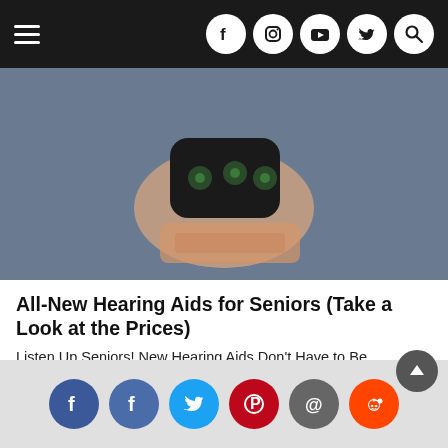Navigation bar with hamburger menu and social icons (Facebook, Instagram, YouTube, Twitter, Search)
[Figure (photo): A hand holding a dark hearing aid device against a blue-grey background]
All-New Hearing Aids for Seniors (Take a Look at the Prices)
Listen Up Seniors! New Hearing Aids Don't Have to Be Expensive. Find Out More Today!
Hearing Aids | Search Ads | Sponsored
[Figure (photo): A person wearing blue gloves handling raw meat at a butcher counter or grocery store]
Social sharing bar with Facebook, Facebook, Twitter, Pinterest, Email, Reddit icons